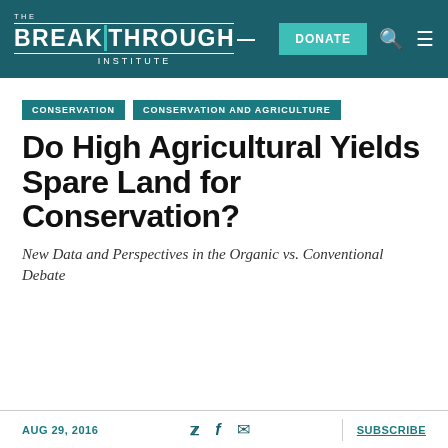THE BREAKTHROUGH INSTITUTE | DONATE
CONSERVATION | CONSERVATION AND AGRICULTURE
Do High Agricultural Yields Spare Land for Conservation?
New Data and Perspectives in the Organic vs. Conventional Debate
AUG 29, 2016 | SUBSCRIBE